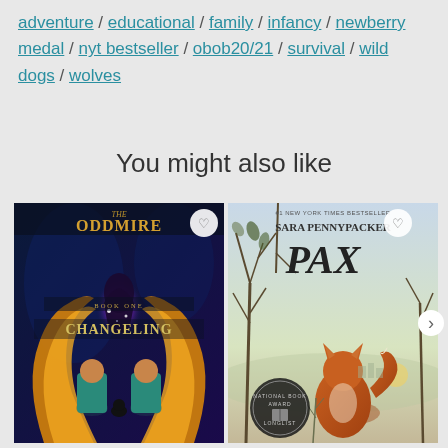adventure / educational / family / infancy / newberry medal / nyt bestseller / obob20/21 / survival / wild dogs / wolves
You might also like
[Figure (photo): Book cover: The Oddmire Book One - Changeling, fantasy illustration with two children before a glowing portal and a dark figure, golden swirling flame border]
[Figure (photo): Book cover: Pax by Sara Pennypacker, #1 New York Times Bestseller, illustration of a fox sitting among bare trees with misty landscape, National Book Award Longlist medal]